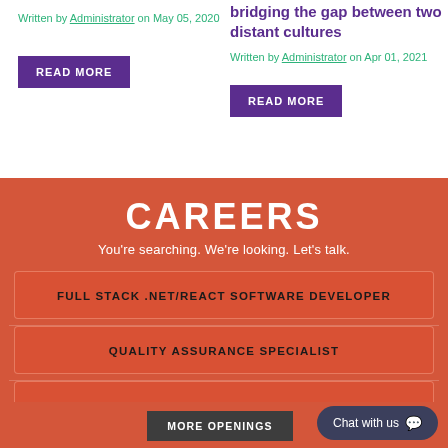Written by Administrator on May 05, 2020
READ MORE
bridging the gap between two distant cultures
Written by Administrator on Apr 01, 2021
READ MORE
CAREERS
You're searching. We're looking. Let's talk.
FULL STACK .NET/REACT SOFTWARE DEVELOPER
QUALITY ASSURANCE SPECIALIST
DIGITAL MEDIA MASTER AND BRAND CHAMPION
MORE OPENINGS
Chat with us